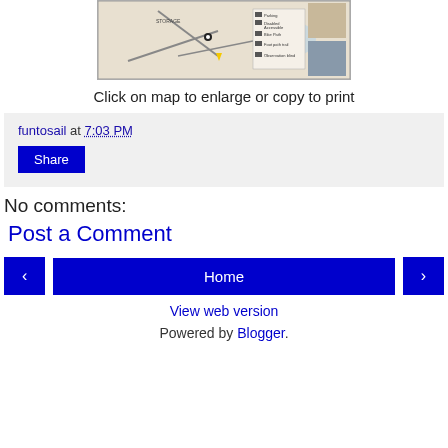[Figure (map): A map image showing roads, trails and landmarks with legend icons, and two small photos on the right side]
Click on map to enlarge or copy to print
funtosail at 7:03 PM
Share
No comments:
Post a Comment
‹
Home
›
View web version
Powered by Blogger.